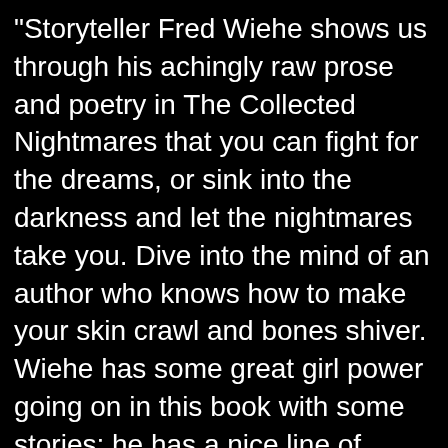"Storyteller Fred Wiehe shows us through his achingly raw prose and poetry in The Collected Nightmares that you can fight for the dreams, or sink into the darkness and let the nightmares take you. Dive into the mind of an author who knows how to make your skin crawl and bones shiver. Wiehe has some great girl power going on in this book with some stories; he has a nice line of balancing male and female lead stories; especially with the story "The Reckoning" which explores girl on girl bullying and reveals the outcome. Conclusion: